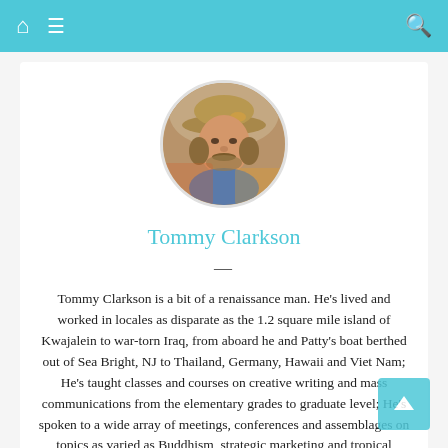Navigation bar with home, menu, and search icons
[Figure (photo): Circular profile photo of Tommy Clarkson, a man wearing a wide-brimmed hat, outdoors]
Tommy Clarkson
Tommy Clarkson is a bit of a renaissance man. He’s lived and worked in locales as disparate as the 1.2 square mile island of Kwajalein to war-torn Iraq, from aboard he and Patty’s boat berthed out of Sea Bright, NJ to Thailand, Germany, Hawaii and Viet Nam; He’s taught classes and courses on creative writing and mass communications from the elementary grades to graduate level; He’s spoken to a wide array of meetings, conferences and assemblages on topics as varied as Buddhism, strategic marketing and tropical plants; In the latter category he and Patty’s recently book, “The Civilized Jungle” – written for the